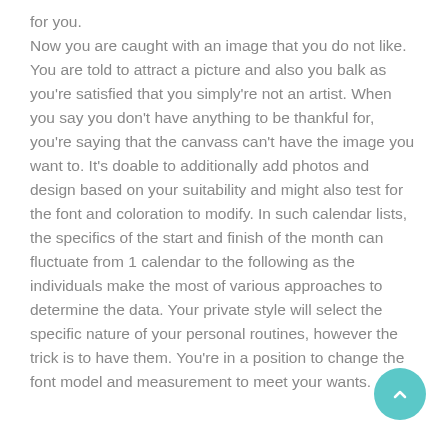for you. Now you are caught with an image that you do not like. You are told to attract a picture and also you balk as you're satisfied that you simply're not an artist. When you say you don't have anything to be thankful for, you're saying that the canvass can't have the image you want to. It's doable to additionally add photos and design based on your suitability and might also test for the font and coloration to modify. In such calendar lists, the specifics of the start and finish of the month can fluctuate from 1 calendar to the following as the individuals make the most of various approaches to determine the data. Your private style will select the specific nature of your personal routines, however the trick is to have them. You're in a position to change the font model and measurement to meet your wants.